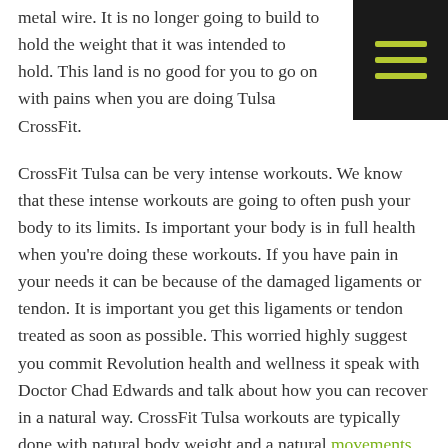metal wire. It is no longer going to build to hold the weight that it was intended to hold. This land is no good for you to go on with pains when you are doing Tulsa CrossFit.
CrossFit Tulsa can be very intense workouts. We know that these intense workouts are going to often push your body to its limits. Is important your body is in full health when you're doing these workouts. If you have pain in your needs it can be because of the damaged ligaments or tendon. It is important you get this ligaments or tendon treated as soon as possible. This worried highly suggest you commit Revolution health and wellness it speak with Doctor Chad Edwards and talk about how you can recover in a natural way. CrossFit Tulsa workouts are typically done with natural body weight and a natural movements.
This is important because your body is made to move a certain way and CrossFit takes advantage of that. We